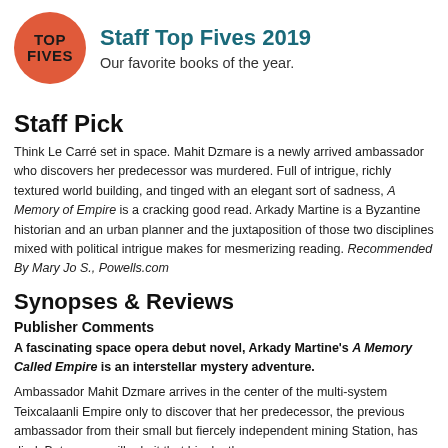[Figure (logo): Top Fives logo: orange circle with bold black text 'TOP FIVES']
Staff Top Fives 2019
Our favorite books of the year.
Staff Pick
Think Le Carré set in space. Mahit Dzmare is a newly arrived ambassador who discovers her predecessor was murdered. Full of intrigue, richly textured world building, and tinged with an elegant sort of sadness, A Memory of Empire is a cracking good read. Arkady Martine is a Byzantine historian and an urban planner and the juxtaposition of those two disciplines mixed with political intrigue makes for mesmerizing reading. Recommended By Mary Jo S., Powells.com
Synopses & Reviews
Publisher Comments
A fascinating space opera debut novel, Arkady Martine's A Memory Called Empire is an interstellar mystery adventure.
Ambassador Mahit Dzmare arrives in the center of the multi-system Teixcalaanli Empire only to discover that her predecessor, the previous ambassador from their small but fiercely independent mining Station, has died. But no one will admit that his death